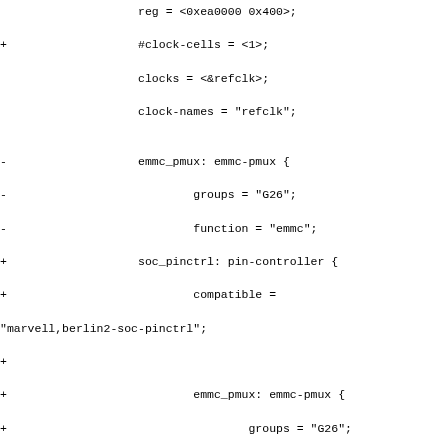Code diff showing device tree changes including clock-cells, clocks, clock-names, emmc_pmux, soc_pinctrl pin-controller, chip_rst reset nodes, and sysctrl system-controller entries. Hunk header: @@ -442,22 +450,26 @@